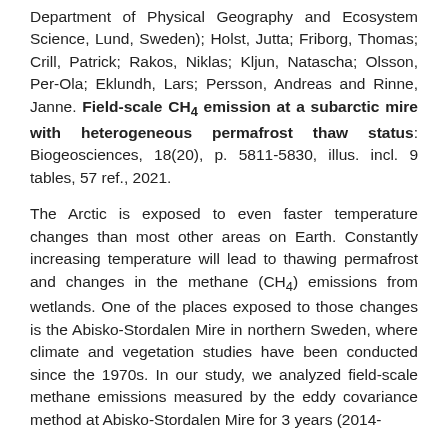Department of Physical Geography and Ecosystem Science, Lund, Sweden); Holst, Jutta; Friborg, Thomas; Crill, Patrick; Rakos, Niklas; Kljun, Natascha; Olsson, Per-Ola; Eklundh, Lars; Persson, Andreas and Rinne, Janne. Field-scale CH₄ emission at a subarctic mire with heterogeneous permafrost thaw status: Biogeosciences, 18(20), p. 5811-5830, illus. incl. 9 tables, 57 ref., 2021.
The Arctic is exposed to even faster temperature changes than most other areas on Earth. Constantly increasing temperature will lead to thawing permafrost and changes in the methane (CH₄) emissions from wetlands. One of the places exposed to those changes is the Abisko-Stordalen Mire in northern Sweden, where climate and vegetation studies have been conducted since the 1970s. In our study, we analyzed field-scale methane emissions measured by the eddy covariance method at Abisko-Stordalen Mire for 3 years (2014-